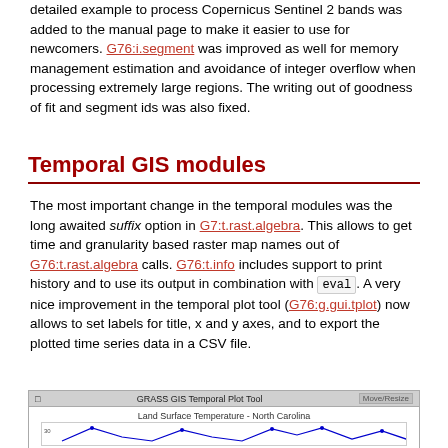detailed example to process Copernicus Sentinel 2 bands was added to the manual page to make it easier to use for newcomers. G76:i.segment was improved as well for memory management estimation and avoidance of integer overflow when processing extremely large regions. The writing out of goodness of fit and segment ids was also fixed.
Temporal GIS modules
The most important change in the temporal modules was the long awaited suffix option in G7:t.rast.algebra. This allows to get time and granularity based raster map names out of G76:t.rast.algebra calls. G76:t.info includes support to print history and to use its output in combination with eval. A very nice improvement in the temporal plot tool (G76:g.gui.tplot) now allows to set labels for title, x and y axes, and to export the plotted time series data in a CSV file.
[Figure (screenshot): GRASS GIS Temporal Plot Tool window showing 'Land Surface Temperature - North Carolina' line chart with a blue line with peaks, partial view cut off at bottom.]